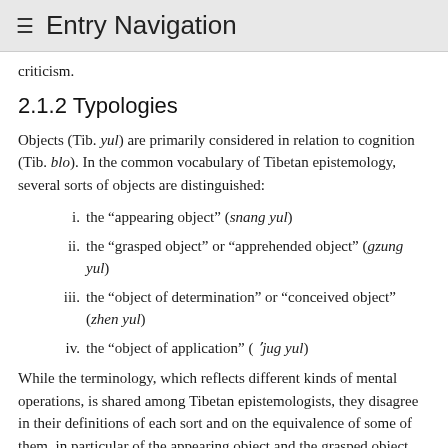≡ Entry Navigation
criticism.
2.1.2 Typologies
Objects (Tib. yul) are primarily considered in relation to cognition (Tib. blo). In the common vocabulary of Tibetan epistemology, several sorts of objects are distinguished:
i. the “appearing object” (snang yul)
ii. the “grasped object” or “apprehended object” (gzung yul)
iii. the “object of determination” or “conceived object” (zhen yul)
iv. the “object of application” (ʻjug yul)
While the terminology, which reflects different kinds of mental operations, is shared among Tibetan epistemologists, they disagree in their definitions of each sort and on the equivalence of some of them, in particular of the appearing object and the grasped object.